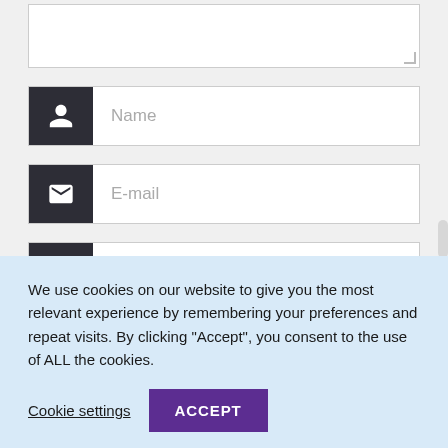[Figure (screenshot): Textarea input box (comment field) at top of form]
[Figure (screenshot): Name input field with dark person icon]
[Figure (screenshot): E-mail input field with dark envelope icon]
[Figure (screenshot): Website input field with dark link icon]
Save my name, email, and website in this browser for the next time I comment.
We use cookies on our website to give you the most relevant experience by remembering your preferences and repeat visits. By clicking “Accept”, you consent to the use of ALL the cookies.
Cookie settings
ACCEPT